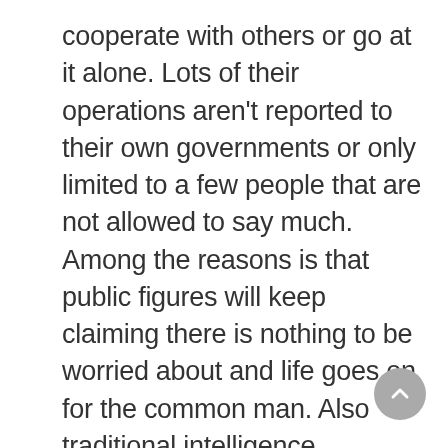cooperate with others or go at it alone. Lots of their operations aren't reported to their own governments or only limited to a few people that are not allowed to say much. Among the reasons is that public figures will keep claiming there is nothing to be worried about and life goes on for the common man. Also traditional intelligence gathering shifted to economic intelligence to help the own economy. In commercial terms it's called business intelligence however when it comes to the amount of secret agencies it goes beyond the known horizon. Many people are a target, just by reading this article you are probably already being monitored and categorized in some database. Sorry to break it to you.